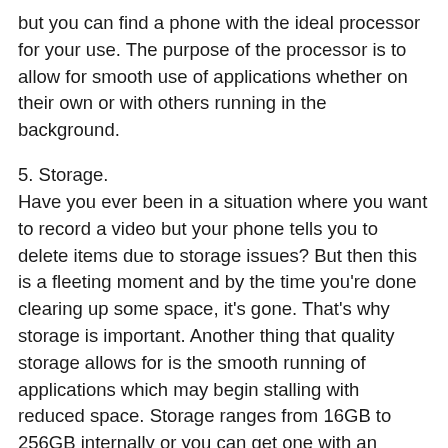but you can find a phone with the ideal processor for your use. The purpose of the processor is to allow for smooth use of applications whether on their own or with others running in the background.
5. Storage.
Have you ever been in a situation where you want to record a video but your phone tells you to delete items due to storage issues? But then this is a fleeting moment and by the time you're done clearing up some space, it's gone. That's why storage is important. Another thing that quality storage allows for is the smooth running of applications which may begin stalling with reduced space. Storage ranges from 16GB to 256GB internally or you can get one with an expandable SD slot.